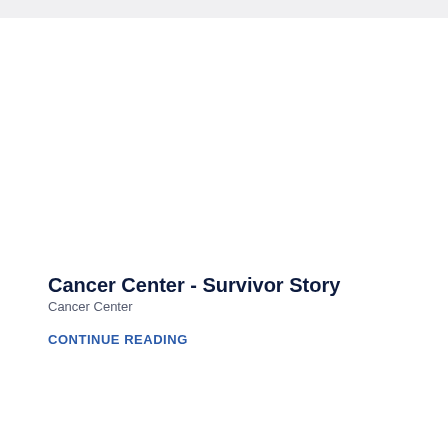Cancer Center - Survivor Story
Cancer Center
CONTINUE READING